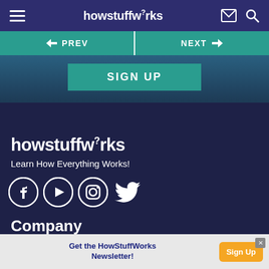howstuffworks navigation bar with hamburger menu, logo, email and search icons
[Figure (screenshot): PREV / NEXT navigation bar in teal]
[Figure (screenshot): SIGN UP button in teal on dark gradient background]
[Figure (logo): howstuffworks logo with superscript question mark]
Learn How Everything Works!
[Figure (infographic): Social media icons: Facebook, YouTube, Instagram, Twitter]
Company
Get the HowStuffWorks Newsletter! Sign Up